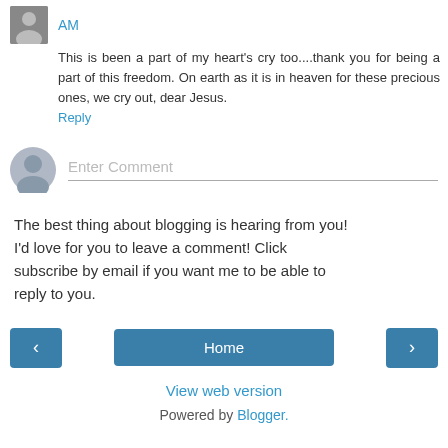AM
This is been a part of my heart's cry too....thank you for being a part of this freedom. On earth as it is in heaven for these precious ones, we cry out, dear Jesus.
Reply
[Figure (other): Comment input field with user avatar placeholder and 'Enter Comment' placeholder text]
The best thing about blogging is hearing from you! I'd love for you to leave a comment! Click subscribe by email if you want me to be able to reply to you.
Home
View web version
Powered by Blogger.